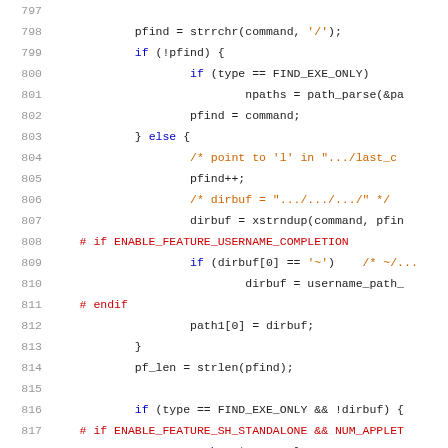[Figure (screenshot): Source code listing lines 797-818 in C, showing file path completion logic with preprocessor conditionals for username completion and standalone shell features.]